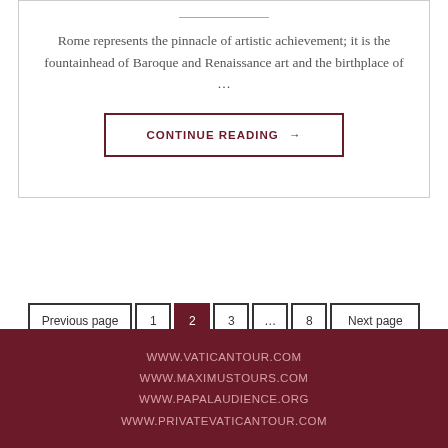Rome represents the pinnacle of artistic achievement; it is the fountainhead of Baroque and Renaissance art and the birthplace of …
CONTINUE READING →
Previous page
1
2
3
…
8
Next page
WWW.VATICANTOUR.COM
WWW.MAXIMUSTOURS.COM
WWW.PAPALAUDIENCE.ORG
WWW.PRIVATEVATICANTOUR.COM